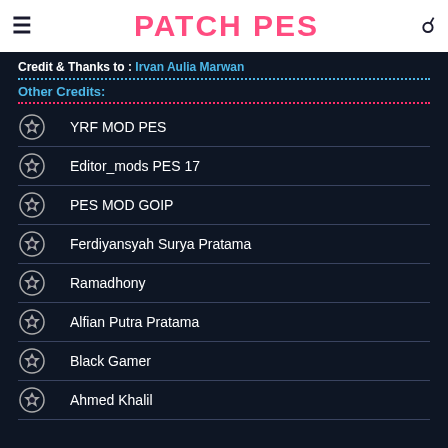PATCH PES
Credit & Thanks to : Irvan Aulia Marwan
Other Credits:
YRF MOD PES
Editor_mods PES 17
PES MOD GOIP
Ferdiyansyah Surya Pratama
Ramadhony
Alfian Putra Pratama
Black Gamer
Ahmed Khalil